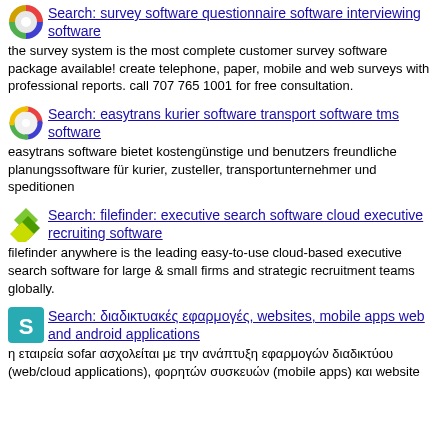Search: survey software questionnaire software interviewing software
the survey system is the most complete customer survey software package available! create telephone, paper, mobile and web surveys with professional reports. call 707 765 1001 for free consultation.
Search: easytrans kurier software transport software tms software
easytrans software bietet kostengünstige und benutzers freundliche planungssoftware für kurier, zusteller, transportunternehmer und speditionen
Search: filefinder: executive search software cloud executive recruiting software
filefinder anywhere is the leading easy-to-use cloud-based executive search software for large & small firms and strategic recruitment teams globally.
Search: διαδικτυακές εφαρμογές, websites, mobile apps web and android applications
η εταιρεία sofar ασχολείται με την ανάπτυξη εφαρμογών διαδικτύου (web/cloud applications), φορητών συσκευών (mobile apps) και website